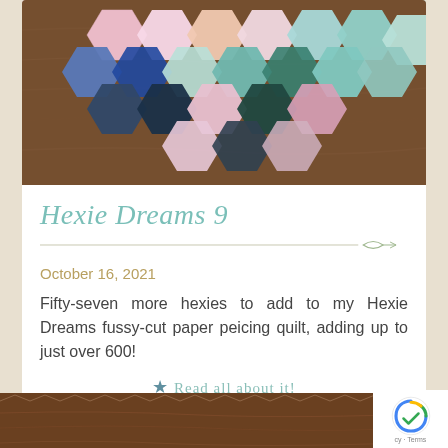[Figure (photo): Hexagonal fabric pieces (hexies) arranged on a wooden table surface, showing various floral and patterned fabrics in pink, blue, teal, green, and navy colors]
Hexie Dreams 9
October 16, 2021
Fifty-seven more hexies to add to my Hexie Dreams fussy-cut paper peicing quilt, adding up to just over 600!
★ Read all about it!
[Figure (photo): Bottom portion of another blog post image showing a wooden surface with fabric pieces]